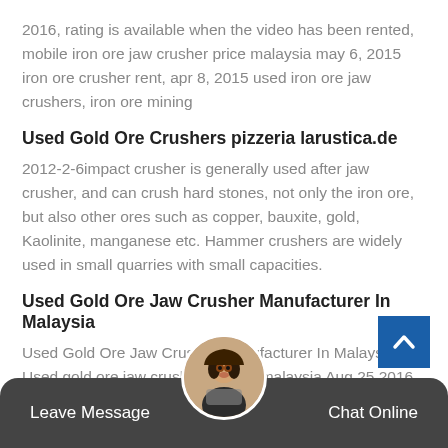2016, rating is available when the video has been rented, mobile iron ore jaw crusher price malaysia may 6, 2015 iron ore crusher rent, apr 8, 2015 used iron ore jaw crushers, iron ore mining
Used Gold Ore Crushers pizzeria larustica.de
2012-2-6impact crusher is generally used after jaw crusher, and can crush hard stones, not only the iron ore, but also other ores such as copper, bauxite, gold, Kaolinite, manganese etc. Hammer crushers are widely used in small quarries with small capacities.
Used Gold Ore Jaw Crusher Manufacturer In Malaysia
Used Gold Ore Jaw Crusher Manufacturer In Malaysia, Used gold ore jaw crusher price in malaysia Aug 25 2016 cone crushers malaysia used
Leave Message  Chat Online